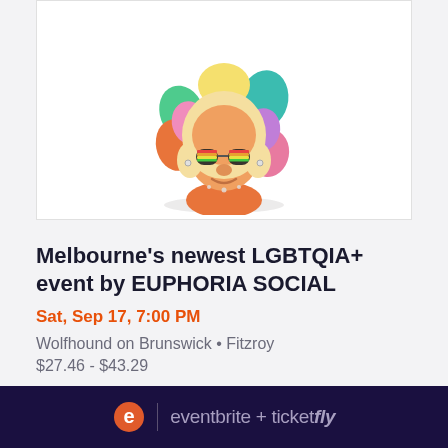[Figure (illustration): Colorful cartoon illustration of a person with a large rainbow-colored afro hairstyle, wearing rainbow-tinted glasses, with peach/tan skin and an orange top, on a white card background.]
Melbourne's newest LGBTQIA+ event by EUPHORIA SOCIAL
Sat, Sep 17, 7:00 PM
Wolfhound on Brunswick • Fitzroy
$27.46 - $43.29
eventbrite + ticketfly